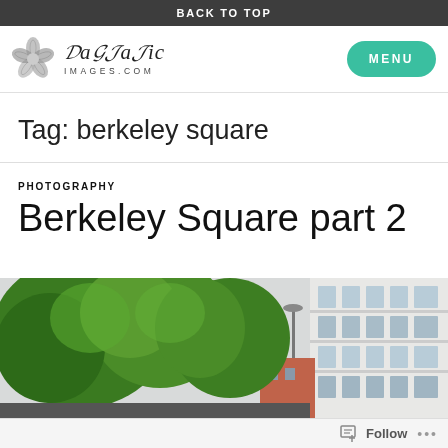BACK TO TOP
[Figure (logo): Daitatic Images logo with flower motif and stylized script text, with a teal MENU button]
Tag: berkeley square
PHOTOGRAPHY
Berkeley Square part 2
[Figure (photo): Photograph of Berkeley Square showing lush green trees on the left and a modern white building with balconies on the right under an overcast sky]
Follow ...